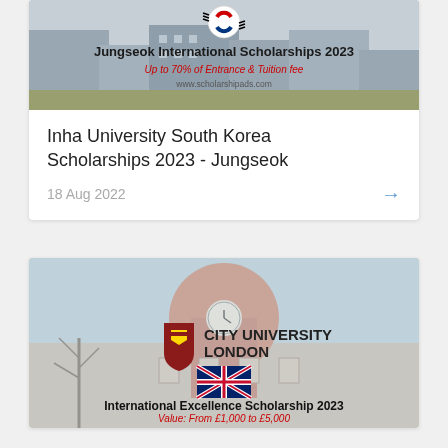[Figure (photo): Jungseok International Scholarships 2023 banner with South Korean flag, city campus background. Text: 'Jungseok International Scholarships 2023', 'Up to 70% of Entrance & Tuition fee', 'www.scholarshipads.com']
Inha University South Korea Scholarships 2023 - Jungseok
18 Aug 2022
[Figure (photo): City University London International Excellence Scholarship 2023 banner with UK flag and university crest. Text: 'CITY UNIVERSITY LONDON', 'International Excellence Scholarship 2023', 'Value: From £1,000 to £5,000', 'www.scholarshipads.com']